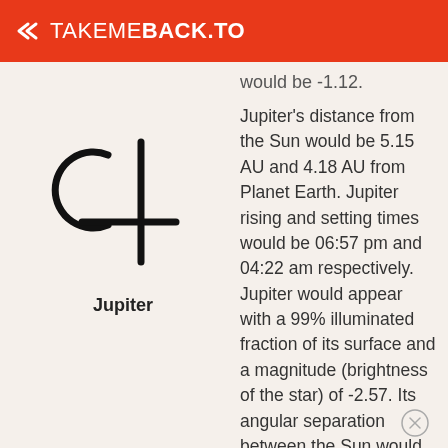TAKEMEBACK.TO
would be -1.12.
[Figure (illustration): Astronomical symbol for Jupiter (resembling the number 4 with a curved left stroke), drawn in black lines]
Jupiter
Jupiter’s distance from the Sun would be 5.15 AU and 4.18 AU from Planet Earth. Jupiter rising and setting times would be 06:57 pm and 04:22 am respectively. Jupiter would appear with a 99% illuminated fraction of its surface and a magnitude (brightness of the star) of -2.57. Its angular separation between the Sun would be 160° 32' 23.2"